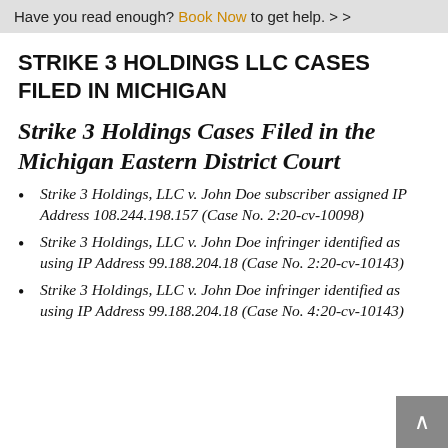Have you read enough? Book Now to get help. > >
STRIKE 3 HOLDINGS LLC CASES FILED IN MICHIGAN
Strike 3 Holdings Cases Filed in the Michigan Eastern District Court
Strike 3 Holdings, LLC v. John Doe subscriber assigned IP Address 108.244.198.157 (Case No. 2:20-cv-10098)
Strike 3 Holdings, LLC v. John Doe infringer identified as using IP Address 99.188.204.18 (Case No. 2:20-cv-10143)
Strike 3 Holdings, LLC v. John Doe infringer identified as using IP Address 99.188.204.18 (Case No. 4:20-cv-10143)